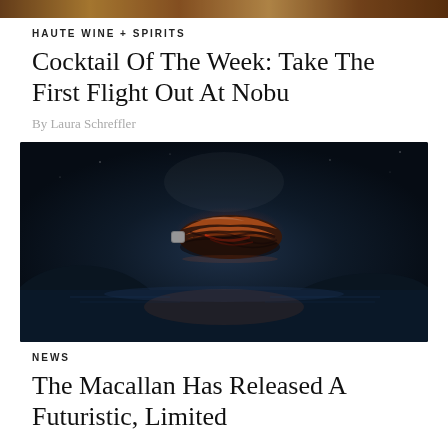[Figure (photo): Top partial image strip showing warm amber/brown tones, likely a food or drink related photograph]
HAUTE WINE + SPIRITS
Cocktail Of The Week: Take The First Flight Out At Nobu
By Laura Schreffler
[Figure (photo): A futuristic, sculptural whisky decanter or bottle with twisted wood and dark design, glowing with amber/red light, floating dramatically above a dark misty Highland landscape at night with moonlit water reflection below]
NEWS
The Macallan Has Released A Futuristic, Limited